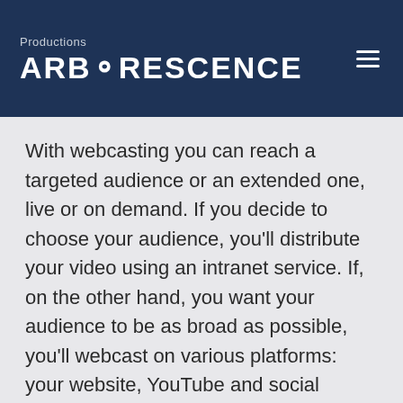Productions ARBORESCENCE
With webcasting you can reach a targeted audience or an extended one, live or on demand. If you decide to choose your audience, you’ll distribute your video using an intranet service. If, on the other hand, you want your audience to be as broad as possible, you’ll webcast on various platforms: your website, YouTube and social media. In either case, you’ll reach your target audience. Webcasting is a mass communication tool that helps you to meet your goals for communication with clients.